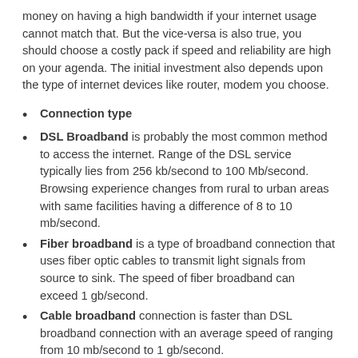money on having a high bandwidth if your internet usage cannot match that. But the vice-versa is also true, you should choose a costly pack if speed and reliability are high on your agenda. The initial investment also depends upon the type of internet devices like router, modem you choose.
Connection type
DSL Broadband is probably the most common method to access the internet. Range of the DSL service typically lies from 256 kb/second to 100 Mb/second. Browsing experience changes from rural to urban areas with same facilities having a difference of 8 to 10 mb/second.
Fiber broadband is a type of broadband connection that uses fiber optic cables to transmit light signals from source to sink. The speed of fiber broadband can exceed 1 gb/second.
Cable broadband connection is faster than DSL broadband connection with an average speed of ranging from 10 mb/second to 1 gb/second.
Wireless broadband uses an antenna to provide the user with an internet connection. The antenna is installed in place where all the premises of the